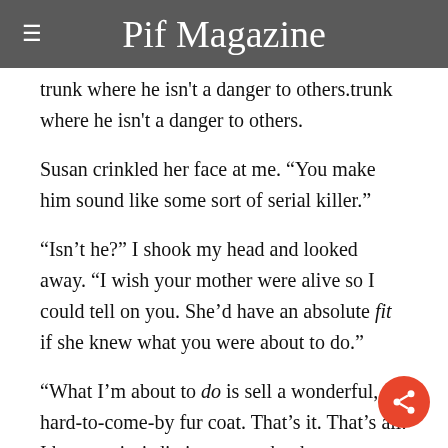Pif Magazine
trunk where he isn't a danger to others.
Susan crinkled her face at me. “You make him sound like some sort of serial killer.”
“Isn’t he?” I shook my head and looked away. “I wish your mother were alive so I could tell on you. She’d have an absolute fit if she knew what you were about to do.”
“What I’m about to do is sell a wonderful, hard-to-come-by fur coat. That’s it. That’s all. I have no jurisdiction over what happens to the buyer. If Monkey wants to bring the wearer to justice– or